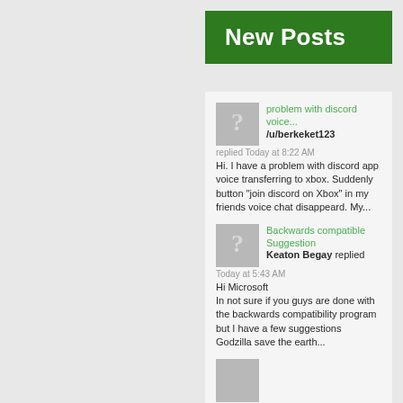New Posts
problem with discord voice...
/u/berkeket123 replied Today at 8:22 AM
Hi. I have a problem with discord app voice transferring to xbox. Suddenly button "join discord on Xbox" in my friends voice chat disappeard. My...
Backwards compatible Suggestion
Keaton Begay replied Today at 5:43 AM
Hi Microsoft
In not sure if you guys are done with the backwards compatibility program but I have a few suggestions
Godzilla save the earth...